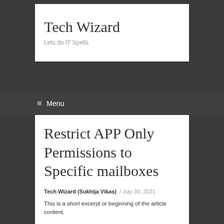Tech Wizard
Lets do IT Spells
≡ Menu
Restrict APP Only Permissions to Specific mailboxes
Tech Wizard (Sukhija Vikas) / July 30, 2021
This is a short excerpt or beginning of the article content.